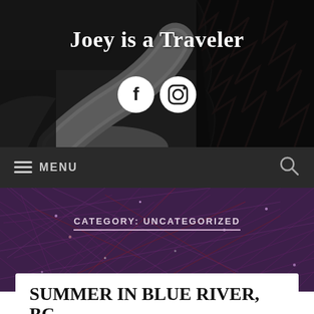[Figure (photo): Black and white winding road through dark trees, used as website header background]
Joey is a Traveler
[Figure (illustration): Facebook and Instagram social media icons in white circles]
≡ MENU
[Figure (illustration): Search magnifying glass icon]
[Figure (photo): Dark purple abstract textured background with criss-crossing lines]
CATEGORY: UNCATEGORIZED
SUMMER IN BLUE RIVER, BC